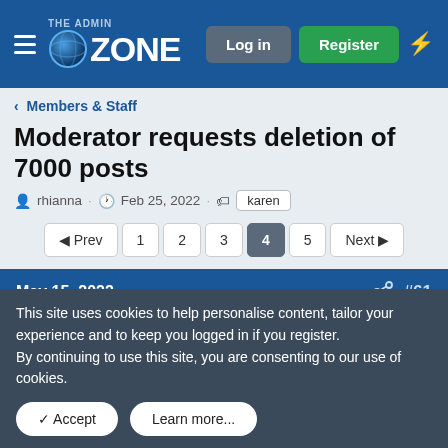the ADMIN ZONE — Log in | Register
Members & Staff
Moderator requests deletion of 7000 posts
rhianna · Feb 25, 2022 · karen
◄ Prev  1  2  3  4  5  Next ►
May 15, 2022   #61
Square Wheels
Aspirant
This site uses cookies to help personalise content, tailor your experience and to keep you logged in if you register.
By continuing to use this site, you are consenting to our use of cookies.
✓ Accept   Learn more...